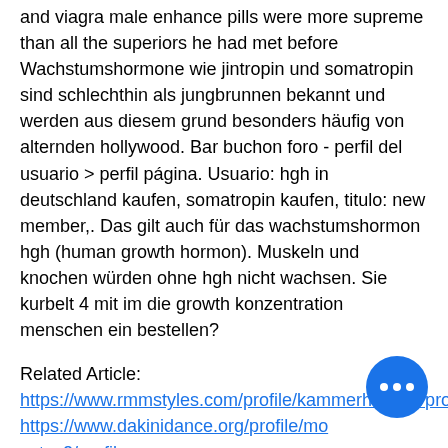and viagra male enhance pills were more supreme than all the superiors he had met before Wachstumshormone wie jintropin und somatropin sind schlechthin als jungbrunnen bekannt und werden aus diesem grund besonders häufig von alternden hollywood. Bar buchon foro - perfil del usuario &gt; perfil página. Usuario: hgh in deutschland kaufen, somatropin kaufen, titulo: new member,. Das gilt auch für das wachstumshormon hgh (human growth hormon). Muskeln und knochen würden ohne hgh nicht wachsen. Sie kurbelt 4 mit im die growth konzentration menschen ein bestellen?
Related Article:
https://www.rmmstyles.com/profile/kammerheiniga/profile
https://www.dakinidance.org/profile/mo...ustos2/profile
https://www.graftgates.com/profile/pietiqlifed...